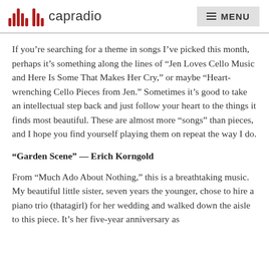capradio  MENU
If you’re searching for a theme in songs I’ve picked this month, perhaps it’s something along the lines of “Jen Loves Cello Music and Here Is Some That Makes Her Cry,” or maybe “Heart-wrenching Cello Pieces from Jen.” Sometimes it’s good to take an intellectual step back and just follow your heart to the things it finds most beautiful. These are almost more “songs” than pieces, and I hope you find yourself playing them on repeat the way I do.
“Garden Scene” — Erich Korngold
From “Much Ado About Nothing,” this is a breathtaking music. My beautiful little sister, seven years the younger, chose to hire a piano trio (thatagirl) for her wedding and walked down the aisle to this piece. It’s her five-year anniversary as